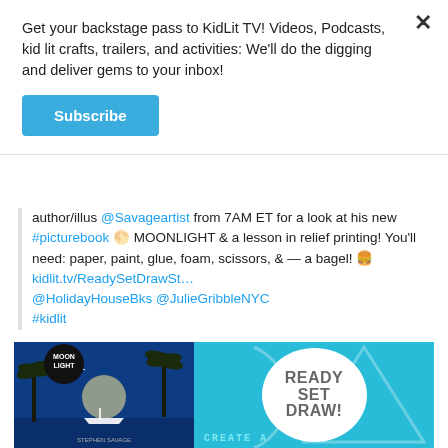Get your backstage pass to KidLit TV! Videos, Podcasts, kid lit crafts, trailers, and activities: We'll do the digging and deliver gems to your inbox!
Subscribe
author/illus @Savageartist from 7AM ET for a look at his new #picturebook 🌕 MOONLIGHT & a lesson in relief printing! You'll need: paper, paint, glue, foam, scissors, & — a bagel! 🍔 kidlit.tv/ReadySetDrawSt… @HolidayHouseBks @JulieGribbleNYC #kidlit
[Figure (screenshot): Ready Set Draw promotional image with Moonlight book cover on blue background and white circle with 'READY SET DRAW!' text, plus 'CREATE A' text at bottom]